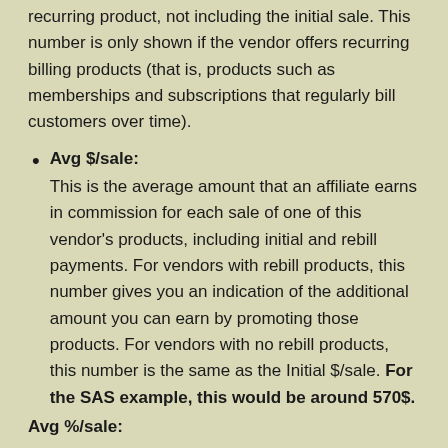recurring product, not including the initial sale. This number is only shown if the vendor offers recurring billing products (that is, products such as memberships and subscriptions that regularly bill customers over time).
Avg $/sale: This is the average amount that an affiliate earns in commission for each sale of one of this vendor's products, including initial and rebill payments. For vendors with rebill products, this number gives you an indication of the additional amount you can earn by promoting those products. For vendors with no rebill products, this number is the same as the Initial $/sale. For the SAS example, this would be around 570$.
Avg %/sale: